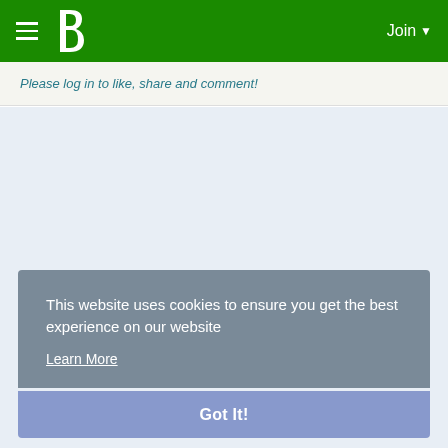b  Join
Please log in to like, share and comment!
This website uses cookies to ensure you get the best experience on our website
Learn More
Got It!